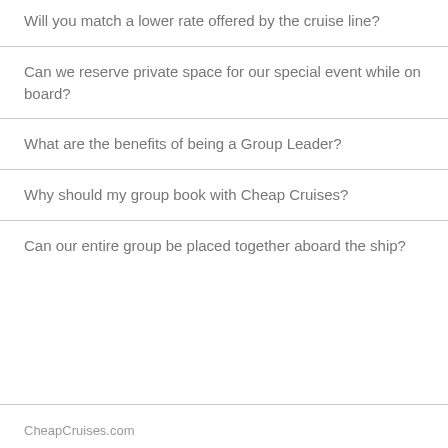Will you match a lower rate offered by the cruise line?
Can we reserve private space for our special event while on board?
What are the benefits of being a Group Leader?
Why should my group book with Cheap Cruises?
Can our entire group be placed together aboard the ship?
CheapCruises.com